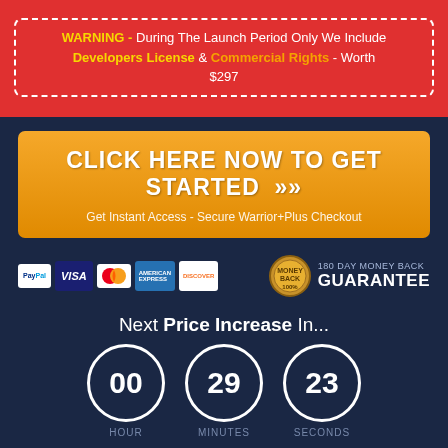WARNING - During The Launch Period Only We Include Developers License & Commercial Rights - Worth $297
[Figure (infographic): CTA button: CLICK HERE NOW TO GET STARTED >> with subtext Get Instant Access - Secure Warrior+Plus Checkout]
[Figure (infographic): Payment icons: PayPal, VISA, MasterCard, American Express, Discover. 180 DAY MONEY BACK GUARANTEE badge.]
Next Price Increase In...
[Figure (infographic): Countdown timer showing 00 HOUR, 29 MINUTES, 23 SECONDS]